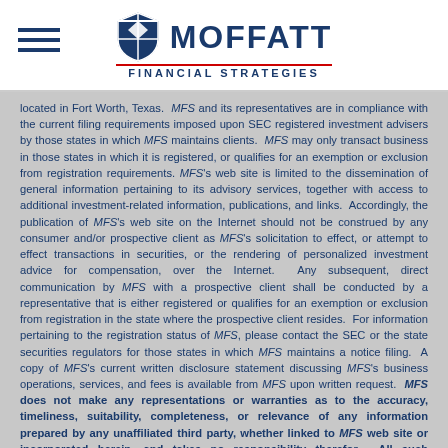MOFFATT FINANCIAL STRATEGIES
located in Fort Worth, Texas. MFS and its representatives are in compliance with the current filing requirements imposed upon SEC registered investment advisers by those states in which MFS maintains clients. MFS may only transact business in those states in which it is registered, or qualifies for an exemption or exclusion from registration requirements. MFS's web site is limited to the dissemination of general information pertaining to its advisory services, together with access to additional investment-related information, publications, and links. Accordingly, the publication of MFS's web site on the Internet should not be construed by any consumer and/or prospective client as MFS's solicitation to effect, or attempt to effect transactions in securities, or the rendering of personalized investment advice for compensation, over the Internet. Any subsequent, direct communication by MFS with a prospective client shall be conducted by a representative that is either registered or qualifies for an exemption or exclusion from registration in the state where the prospective client resides. For information pertaining to the registration status of MFS, please contact the SEC or the state securities regulators for those states in which MFS maintains a notice filing. A copy of MFS's current written disclosure statement discussing MFS's business operations, services, and fees is available from MFS upon written request. MFS does not make any representations or warranties as to the accuracy, timeliness, suitability, completeness, or relevance of any information prepared by any unaffiliated third party, whether linked to MFS web site or incorporated herein, and takes no responsibility therefor. All such information is provided solely for convenience purposes only and all users thereof should be guided accordingly.